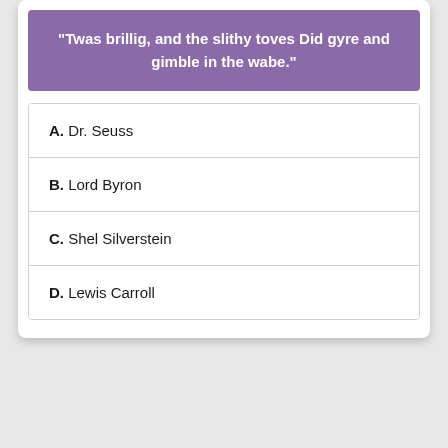"Twas brillig, and the slithy toves Did gyre and gimble in the wabe."
A. Dr. Seuss
B. Lord Byron
C. Shel Silverstein
D. Lewis Carroll